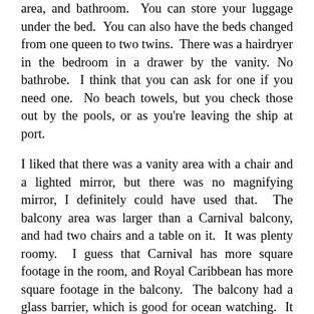area, and bathroom. You can store your luggage under the bed. You can also have the beds changed from one queen to two twins. There was a hairdryer in the bedroom in a drawer by the vanity. No bathrobe. I think that you can ask for one if you need one. No beach towels, but you check those out by the pools, or as you're leaving the ship at port.
I liked that there was a vanity area with a chair and a lighted mirror, but there was no magnifying mirror, I definitely could have used that. The balcony area was larger than a Carnival balcony, and had two chairs and a table on it. It was plenty roomy. I guess that Carnival has more square footage in the room, and Royal Caribbean has more square footage in the balcony. The balcony had a glass barrier, which is good for ocean watching. It does get kind of dirty with sea salt spray though. And for the life of me, I can't figure out how they...